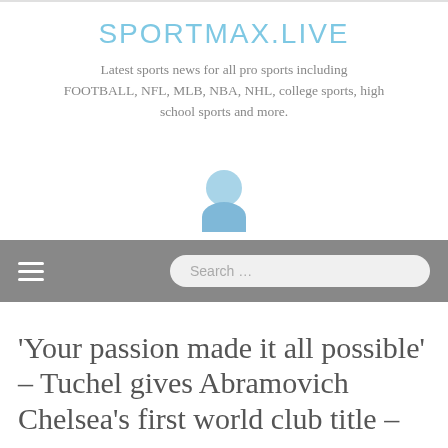SPORTMAX.LIVE
Latest sports news for all pro sports including FOOTBALL, NFL, MLB, NBA, NHL, college sports, high school sports and more.
[Figure (illustration): User avatar icon showing a light blue circle (head) and rounded body shape]
‘Your passion made it all possible’ – Tuchel gives Abramovich Chelsea’s first world club title – SPORT NEWS REDIA